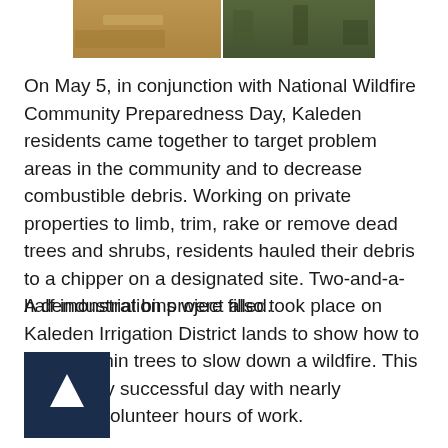[Figure (photo): Photo strip showing outdoor scene with wood chips/debris and vegetation, split into two images side by side]
On May 5, in conjunction with National Wildfire Community Preparedness Day, Kaleden residents came together to target problem areas in the community and to decrease combustible debris. Working on private properties to limb, trim, rake or remove dead trees and shrubs, residents hauled their debris to a chipper on a designated site. Two-and-a-half industrial bins were filled.
A demonstration project also took place on Kaleden Irrigation District lands to show how to trim and thin trees to slow down a wildfire. This was a very successful day with nearly volunteer hours of work.
[Figure (other): Navigation button with upward arrow on dark navy background]